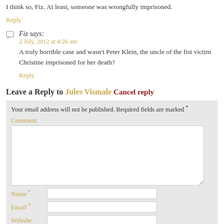I think so, Fiz. At least, someone was wrongfully imprisoned.
Reply
Fiz says:
2 July, 2012 at 4:26 am
A truly horrible case and wasn't Peter Klein, the uncle of the fist victim Christine imprisoned for her death?
Reply
Leave a Reply to Jules Vismale Cancel reply
Your email address will not be published. Required fields are marked *
Comment
Name *
Email *
Website
Post Comment